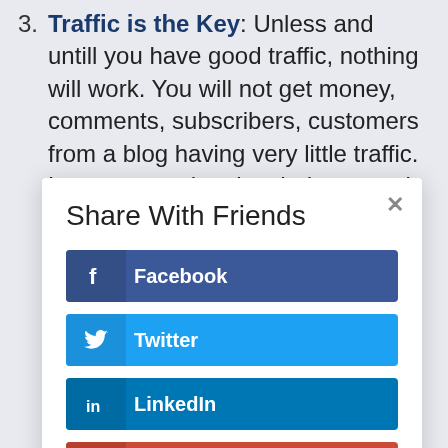3. Traffic is the Key: Unless and untill you have good traffic, nothing will work. You will not get money, comments, subscribers, customers from a blog having very little traffic. Learn promotional techniques and work on increasing traffic!
[Figure (other): Share With Friends modal dialog with social sharing buttons for Facebook, Twitter, LinkedIn, and Gmail]